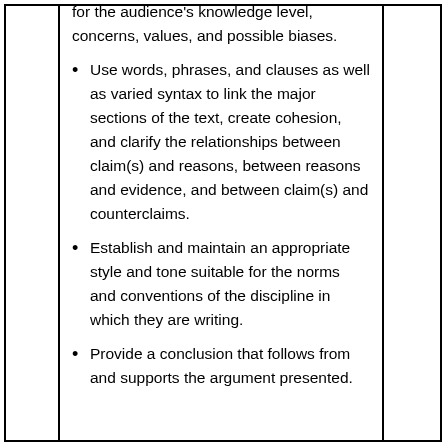for the audience's knowledge level, concerns, values, and possible biases.
Use words, phrases, and clauses as well as varied syntax to link the major sections of the text, create cohesion, and clarify the relationships between claim(s) and reasons, between reasons and evidence, and between claim(s) and counterclaims.
Establish and maintain an appropriate style and tone suitable for the norms and conventions of the discipline in which they are writing.
Provide a conclusion that follows from and supports the argument presented.